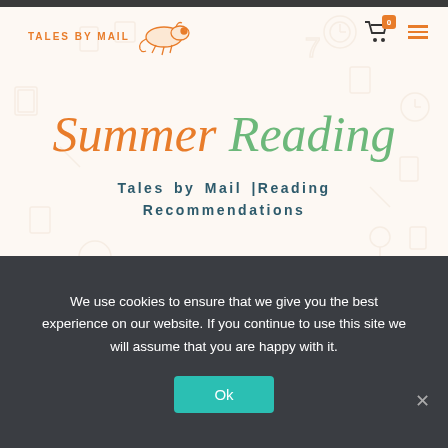[Figure (logo): Tales by Mail logo with chameleon illustration and orange text]
Summer Reading
Tales by Mail |Reading Recommendations
Summer is finally here – and there's not long to go before the summer holidays! We know that many young bookworms will be participating in summer reading challenges, or needing to pack books of their holidays, so here are
We use cookies to ensure that we give you the best experience on our website. If you continue to use this site we will assume that you are happy with it.